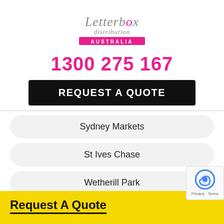[Figure (logo): Letterbox Distribution Australia logo — cursive script text reading 'Letterbox distribution' above 'AUSTRALIA' in small caps]
1300 275 167
REQUEST A QUOTE
Sydney Markets
St Ives Chase
Wetherill Park
St Pauls
Request A Quote